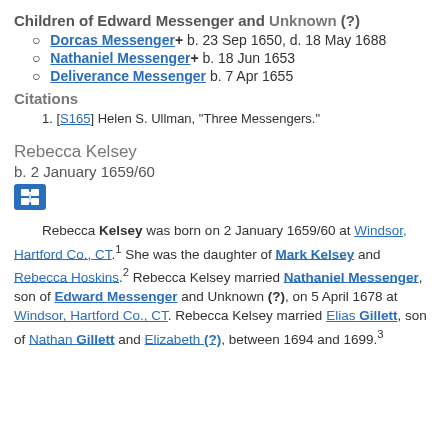Children of Edward Messenger and Unknown (?)
Dorcas Messenger+ b. 23 Sep 1650, d. 18 May 1688
Nathaniel Messenger+ b. 18 Jun 1653
Deliverance Messenger b. 7 Apr 1655
Citations
1. [S165] Helen S. Ullman, "Three Messengers."
Rebecca Kelsey
b. 2 January 1659/60
Rebecca Kelsey was born on 2 January 1659/60 at Windsor, Hartford Co., CT.1 She was the daughter of Mark Kelsey and Rebecca Hoskins.2 Rebecca Kelsey married Nathaniel Messenger, son of Edward Messenger and Unknown (?), on 5 April 1678 at Windsor, Hartford Co., CT. Rebecca Kelsey married Elias Gillett, son of Nathan Gillett and Elizabeth (?), between 1694 and 1699.3